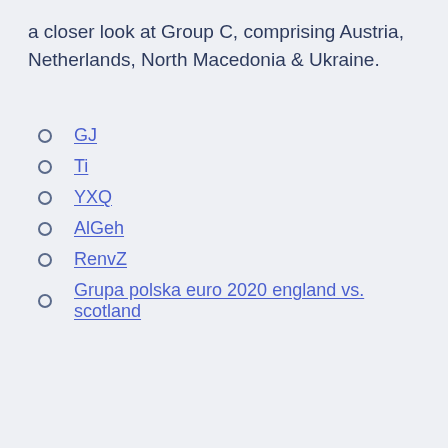a closer look at Group C, comprising Austria, Netherlands, North Macedonia & Ukraine.
GJ
Ti
YXQ
AlGeh
RenvZ
Grupa polska euro 2020 england vs. scotland